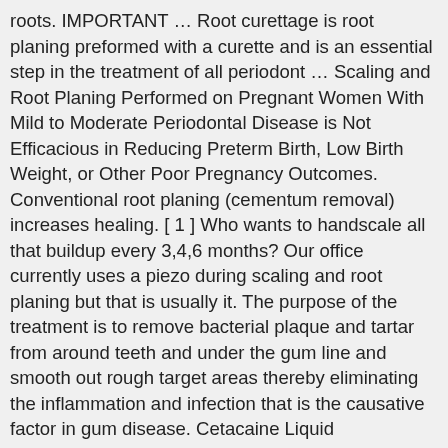roots. IMPORTANT … Root curettage is root planing preformed with a curette and is an essential step in the treatment of all periodont … Scaling and Root Planing Performed on Pregnant Women With Mild to Moderate Periodontal Disease is Not Efficacious in Reducing Preterm Birth, Low Birth Weight, or Other Poor Pregnancy Outcomes. Conventional root planing (cementum removal) increases healing. [ 1 ] Who wants to handscale all that buildup every 3,4,6 months? Our office currently uses a piezo during scaling and root planing but that is usually it. The purpose of the treatment is to remove bacterial plaque and tartar from around teeth and under the gum line and smooth out rough target areas thereby eliminating the inflammation and infection that is the causative factor in gum disease. Cetacaine Liquid (Benzocaine 14%, Butamben 2%, Tetracaine HCl 2%), the prescription topical anesthetic from Cetylite, is frequently recommended as a pain control option for procedures such as scaling and root planing. Probing depth reduction following scaling and root planing alone will occur